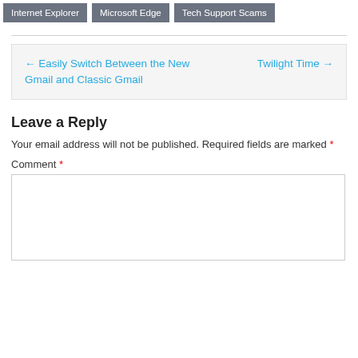Internet Explorer | Microsoft Edge | Tech Support Scams
← Easily Switch Between the New Gmail and Classic Gmail
Twilight Time →
Leave a Reply
Your email address will not be published. Required fields are marked *
Comment *